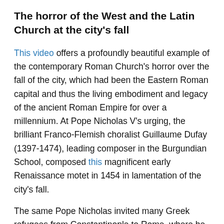The horror of the West and the Latin Church at the city's fall
This video offers a profoundly beautiful example of the contemporary Roman Church's horror over the fall of the city, which had been the Eastern Roman capital and thus the living embodiment and legacy of the ancient Roman Empire for over a millennium. At Pope Nicholas V's urging, the brilliant Franco-Flemish choralist Guillaume Dufay (1397-1474), leading composer in the Burgundian School, composed this magnificent early Renaissance motet in 1454 in lamentation of the city's fall.
The same Pope Nicholas invited many Greek refugees from Constantinople to Rome, where he hoped to add their intellectual luster and accumulated theological, historical, literary and artistic works to the splendor of Old